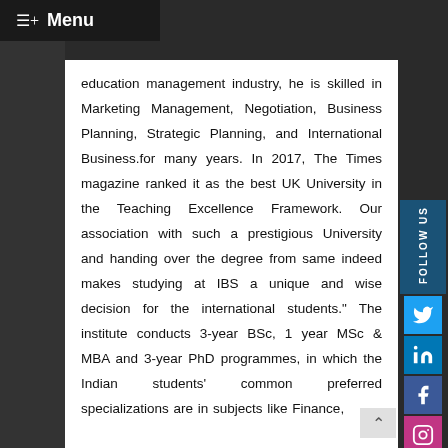≡+ Menu
education management industry, he is skilled in Marketing Management, Negotiation, Business Planning, Strategic Planning, and International Business.for many years. In 2017, The Times magazine ranked it as the best UK University in the Teaching Excellence Framework. Our association with such a prestigious University and handing over the degree from same indeed makes studying at IBS a unique and wise decision for the international students." The institute conducts 3-year BSc, 1 year MSc & MBA and 3-year PhD programmes, in which the Indian students' common preferred specializations are in subjects like Finance,